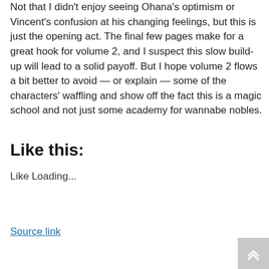Not that I didn't enjoy seeing Ohana's optimism or Vincent's confusion at his changing feelings, but this is just the opening act. The final few pages make for a great hook for volume 2, and I suspect this slow build-up will lead to a solid payoff. But I hope volume 2 flows a bit better to avoid — or explain — some of the characters' waffling and show off the fact this is a magic school and not just some academy for wannabe nobles.
Like this:
Like Loading...
Source link